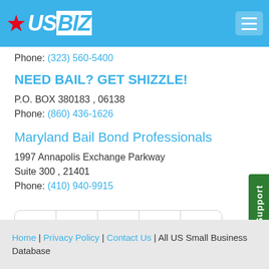USBIZ
Phone: (323) 560-5400
NEED BAIL? GET SHIZZLE!
P.O. BOX 380183 , 06138
Phone: (860) 436-1626
Maryland Bail Bond Professionals
1997 Annapolis Exchange Parkway
Suite 300 , 21401
Phone: (410) 940-9915
« 1 2 3 »
Home | Privacy Policy | Contact Us | All US Small Business Database